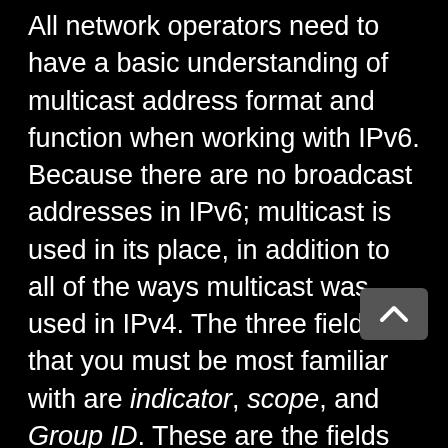All network operators need to have a basic understanding of multicast address format and function when working with IPv6. Because there are no broadcast addresses in IPv6; multicast is used in its place, in addition to all of the ways multicast was used in IPv4. The three fields that you must be most familiar with are indicator, scope, and Group ID. These are the fields used by all IPv6 multicast traffic; including routing protocol messages.
The indicator is always 11111111 (FF in hex notation) because this is the high-order bit pattern that indicates that an IPv6 address is a multicast address.